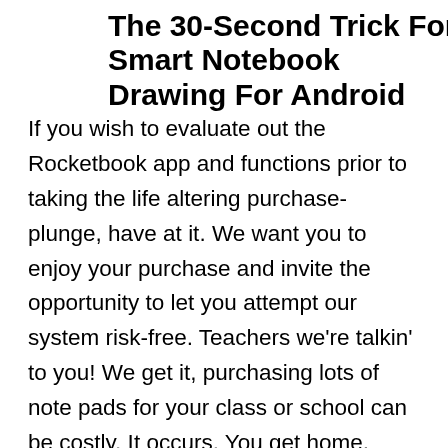The 30-Second Trick For Smart Notebook Drawing For Android
If you wish to evaluate out the Rocketbook app and functions prior to taking the life altering purchase-plunge, have at it. We want you to enjoy your purchase and invite the opportunity to let you attempt our system risk-free. Teachers we're talkin' to you! We get it, purchasing lots of note pads for your class or school can be costly. It occurs. You get home, reach into your bag and recognize you left your Rocketbook note pad at home. That does not indicate you need to keep in mind the old made way for the period of your time far from work (Smart Notebook Drawing For Android). Simply print out a few